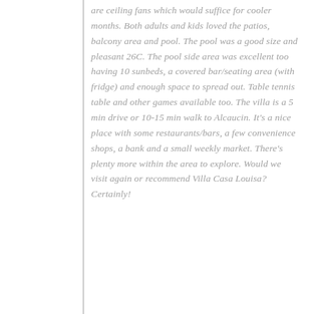are ceiling fans which would suffice for cooler months. Both adults and kids loved the patios, balcony area and pool. The pool was a good size and pleasant 26C. The pool side area was excellent too having 10 sunbeds, a covered bar/seating area (with fridge) and enough space to spread out. Table tennis table and other games available too. The villa is a 5 min drive or 10-15 min walk to Alcaucin. It's a nice place with some restaurants/bars, a few convenience shops, a bank and a small weekly market. There's plenty more within the area to explore. Would we visit again or recommend Villa Casa Louisa? Certainly!